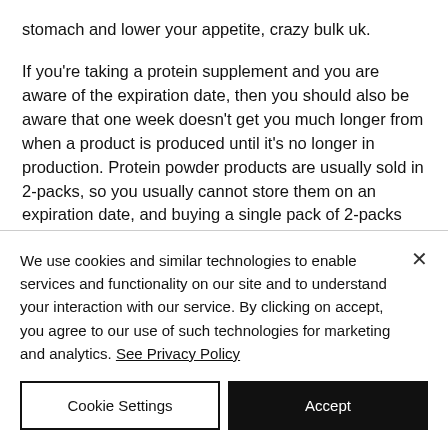stomach and lower your appetite, crazy bulk uk.

If you're taking a protein supplement and you are aware of the expiration date, then you should also be aware that one week doesn't get you much longer from when a product is produced until it's no longer in production. Protein powder products are usually sold in 2-packs, so you usually cannot store them on an expiration date, and buying a single pack of 2-packs will
We use cookies and similar technologies to enable services and functionality on our site and to understand your interaction with our service. By clicking on accept, you agree to our use of such technologies for marketing and analytics. See Privacy Policy
Cookie Settings
Accept